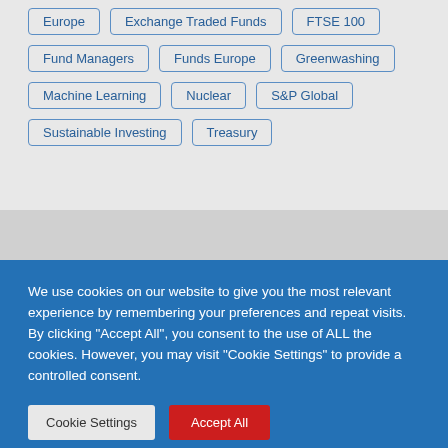Europe
Exchange Traded Funds
FTSE 100
Fund Managers
Funds Europe
Greenwashing
Machine Learning
Nuclear
S&P Global
Sustainable Investing
Treasury
We use cookies on our website to give you the most relevant experience by remembering your preferences and repeat visits. By clicking "Accept All", you consent to the use of ALL the cookies. However, you may visit "Cookie Settings" to provide a controlled consent.
Cookie Settings
Accept All